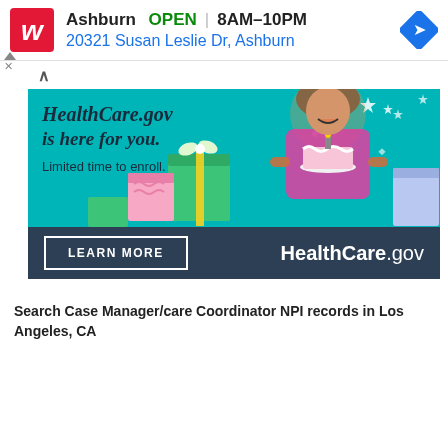[Figure (screenshot): Walgreens ad bar showing Ashburn location, OPEN 8AM-10PM, address 20321 Susan Susan Leslie Dr, Ashburn with navigation arrow icon]
[Figure (screenshot): HealthCare.gov advertisement banner with teal background, woman holding birthday cake, gift boxes, text 'HealthCare.gov is here for you. Limited time to enroll.' and LEARN MORE button]
Search Case Manager/care Coordinator NPI records in Los Angeles, CA